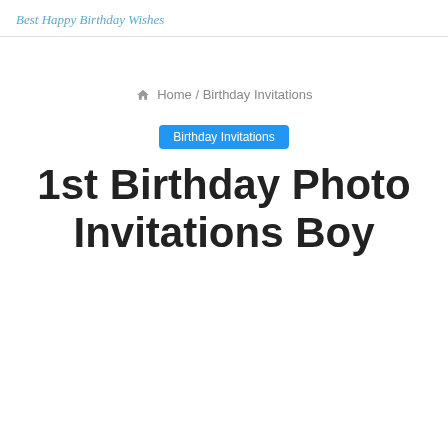Best Happy Birthday Wishes
🏠 Home / Birthday Invitations
Birthday Invitations
1st Birthday Photo Invitations Boy